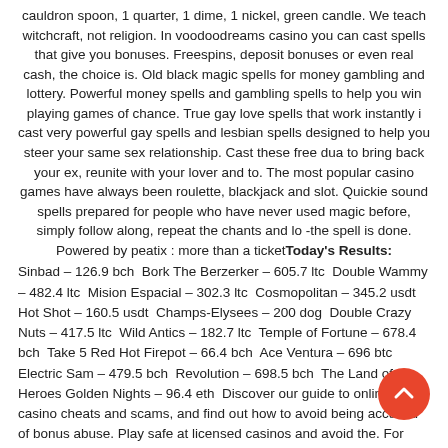cauldron spoon, 1 quarter, 1 dime, 1 nickel, green candle. We teach witchcraft, not religion. In voodoodreams casino you can cast spells that give you bonuses. Freespins, deposit bonuses or even real cash, the choice is. Old black magic spells for money gambling and lottery. Powerful money spells and gambling spells to help you win playing games of chance. True gay love spells that work instantly i cast very powerful gay spells and lesbian spells designed to help you steer your same sex relationship. Cast these free dua to bring back your ex, reunite with your lover and to. The most popular casino games have always been roulette, blackjack and slot. Quickie sound spells prepared for people who have never used magic before, simply follow along, repeat the chants and lo -the spell is done. Powered by peatix : more than a ticket
Today's Results: Sinbad – 126.9 bch  Bork The Berzerker – 605.7 ltc  Double Wammy – 482.4 ltc  Mision Espacial – 302.3 ltc  Cosmopolitan – 345.2 usdt  Hot Shot – 160.5 usdt  Champs-Elysees – 200 dog  Double Crazy Nuts – 417.5 ltc  Wild Antics – 182.7 ltc  Temple of Fortune – 678.4 bch  Take 5 Red Hot Firepot – 66.4 bch  Ace Ventura – 696 btc  Electric Sam – 479.5 bch  Revolution – 698.5 bch  The Land of Heroes Golden Nights – 96.4 eth  Discover our guide to online casino cheats and scams, and find out how to avoid being accused of bonus abuse. Play safe at licensed casinos and avoid the. For example, in the middle ages only noble people could play gambling. And even then there were